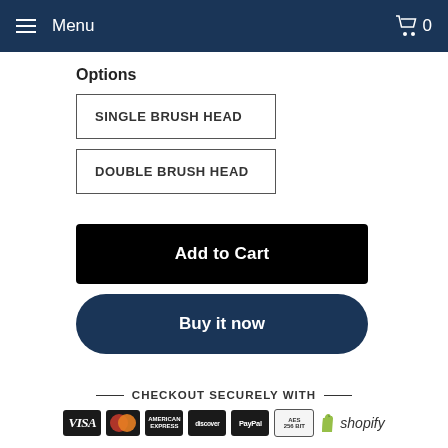Menu  🛒 0
Options
SINGLE BRUSH HEAD
DOUBLE BRUSH HEAD
Add to Cart
Buy it now
CHECKOUT SECURELY WITH
[Figure (infographic): Payment method logos: VISA, MasterCard, American Express, Discover, PayPal, AES encryption badge, Shopify]
Effect the...